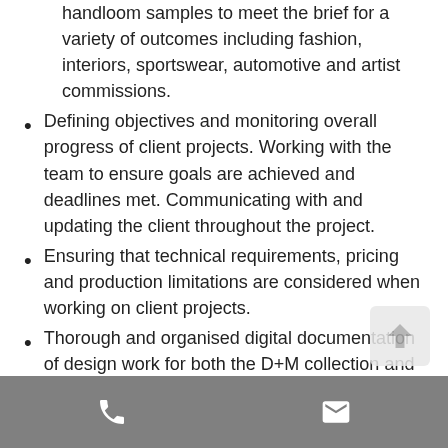handloom samples to meet the brief for a variety of outcomes including fashion, interiors, sportswear, automotive and artist commissions.
Defining objectives and monitoring overall progress of client projects. Working with the team to ensure goals are achieved and deadlines met. Communicating with and updating the client throughout the project.
Ensuring that technical requirements, pricing and production limitations are considered when working on client projects.
Thorough and organised digital documentation of design work for both the D+M collection and client projects including technical sheets, weave plans, photographs and physical cuttings of design samples.
Sourcing and communicating with yarn suppliers, working with existing suppliers, researching and building relationships with new ones.
Phone and email contact icons